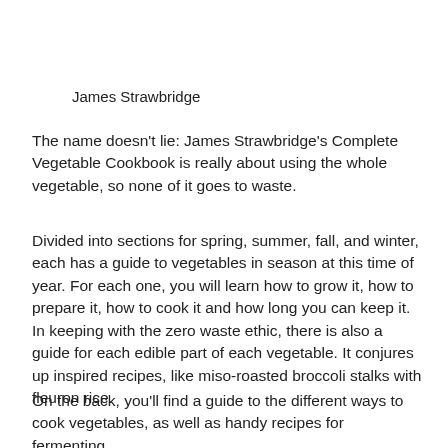James Strawbridge
The name doesn't lie: James Strawbridge's Complete Vegetable Cookbook is really about using the whole vegetable, so none of it goes to waste.
Divided into sections for spring, summer, fall, and winter, each has a guide to vegetables in season at this time of year. For each one, you will learn how to grow it, how to prepare it, how to cook it and how long you can keep it. In keeping with the zero waste ethic, there is also a guide for each edible part of each vegetable. It conjures up inspired recipes, like miso-roasted broccoli stalks with fleuron rice.
On the back, you'll find a guide to the different ways to cook vegetables, as well as handy recipes for fermenting,